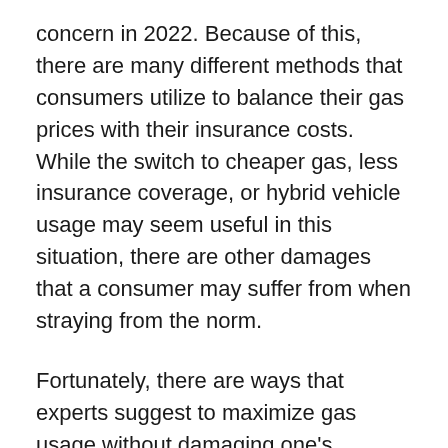concern in 2022. Because of this, there are many different methods that consumers utilize to balance their gas prices with their insurance costs. While the switch to cheaper gas, less insurance coverage, or hybrid vehicle usage may seem useful in this situation, there are other damages that a consumer may suffer from when straying from the norm.
Fortunately, there are ways that experts suggest to maximize gas usage without damaging one's vehicle. Driving less, avoiding sudden stops and unnecessary breaking, less idling, and not speeding are all easy fixes to ensure that fuel use is maximized. Insurance rates are also closely tied to changing gas prices, therefore, driving less, taking advantage of available discounts, and comparing quotes are all ways...